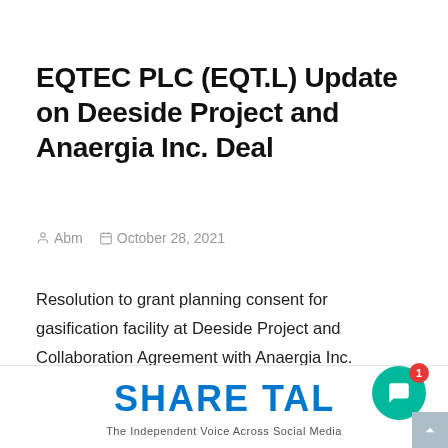EQTEC PLC (EQT.L) Update on Deeside Project and Anaergia Inc. Deal
Abm   October 28, 2021
Resolution to grant planning consent for gasification facility at Deeside Project and Collaboration Agreement with Anaergia Inc.
[Figure (logo): Share Talk logo with tagline 'The Independent Voice Across Social Media']